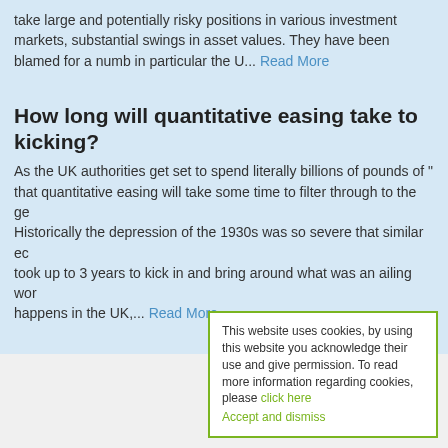take large and potentially risky positions in various investment markets, substantial swings in asset values. They have been blamed for a number of crises in particular the U... Read More
How long will quantitative easing take to kicking?
As the UK authorities get set to spend literally billions of pounds of "that quantitative easing will take some time to filter through to the general economy. Historically the depression of the 1930s was so severe that similar economic measures took up to 3 years to kick in and bring around what was an ailing world economy. What happens in the UK,... Read More
This website uses cookies, by using this website you acknowledge their use and give permission. To read more information regarding cookies, please click here Accept and dismiss